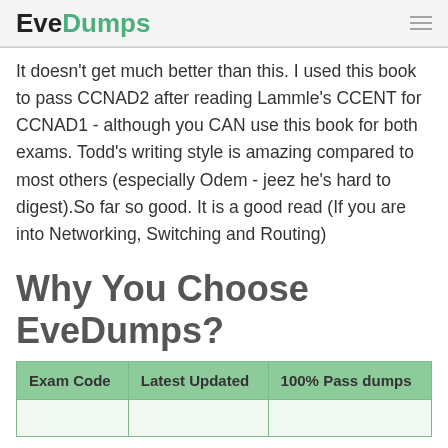EveDumps
It doesn't get much better than this. I used this book to pass CCNAD2 after reading Lammle's CCENT for CCNAD1 - although you CAN use this book for both exams. Todd's writing style is amazing compared to most others (especially Odem - jeez he's hard to digest).So far so good. It is a good read (If you are into Networking, Switching and Routing)
Why You Choose EveDumps?
| Exam Code | Latest Updated | 100% Pass dumps |
| --- | --- | --- |
|  |  |  |